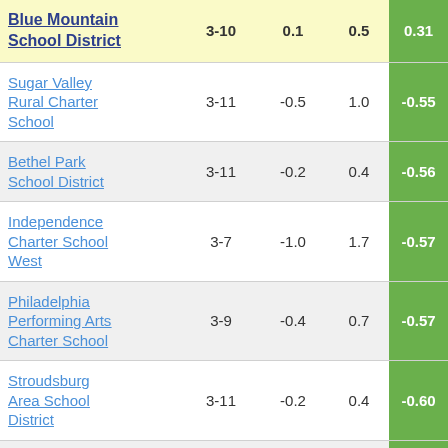| School/District | Grades | Col3 | Col4 | Score |
| --- | --- | --- | --- | --- |
| Blue Mountain School District | 3-10 | 0.1 | 0.5 | 0.31 |
| Sugar Valley Rural Charter School | 3-11 | -0.5 | 1.0 | -0.55 |
| Bethel Park School District | 3-11 | -0.2 | 0.4 | -0.56 |
| Independence Charter School West | 3-7 | -1.0 | 1.7 | -0.57 |
| Philadelphia Performing Arts Charter School | 3-9 | -0.4 | 0.7 | -0.57 |
| Stroudsburg Area School District | 3-11 | -0.2 | 0.4 | -0.60 |
| Canton Area School District | 3-11 | -0.5 | 0.8 | -0.61 |